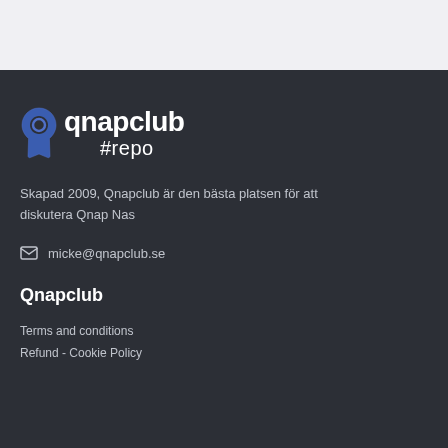[Figure (logo): Qnapclub #repo logo — blue Q icon with white text 'qnapclub' and '#repo' below]
Skapad 2009, Qnapclub är den bästa platsen för att diskutera Qnap Nas
micke@qnapclub.se
Qnapclub
Terms and conditions
Refund - Cookie Policy